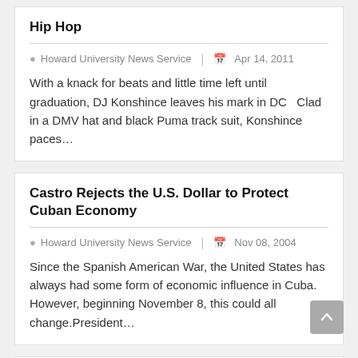Hip Hop
Howard University News Service  |  Apr 14, 2011
With a knack for beats and little time left until graduation, DJ Konshince leaves his mark in DC   Clad in a DMV hat and black Puma track suit, Konshince paces…
Castro Rejects the U.S. Dollar to Protect Cuban Economy
Howard University News Service  |  Nov 08, 2004
Since the Spanish American War, the United States has always had some form of economic influence in Cuba. However, beginning November 8, this could all change.President…